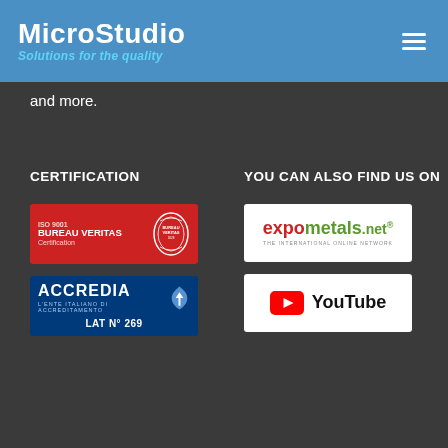MicroStudio — Solutions for the quality
and more.
CERTIFICATION
[Figure (logo): Bureau Veritas ISO 9001 Certification logo — red background with white text and circular seal]
[Figure (logo): ACCREDIA L'Ente Italiano di Accreditamento logo — dark blue background, LAT N° 269]
YOU CAN ALSO FIND US ON
[Figure (logo): expometals.net — The International Online Network logo]
[Figure (logo): YouTube logo — red play button with YouTube wordmark]